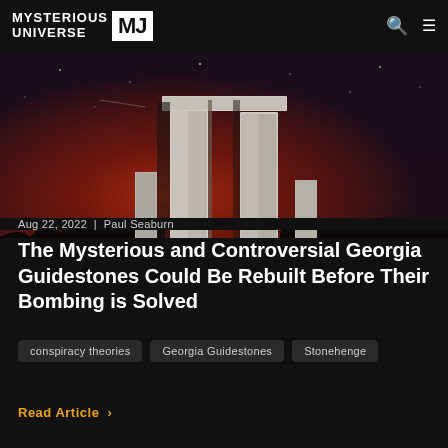MYSTERIOUS UNIVERSE MU
[Figure (photo): Night photo of the Georgia Guidestones monument — tall granite slabs silhouetted against a dramatic reddish-orange and dark purple sky with stars visible]
Aug 22, 2022  |  Paul Seaburn
The Mysterious and Controversial Georgia Guidestones Could Be Rebuilt Before Their Bombing is Solved
conspiracy theories
Georgia Guidestones
Stonehenge
Read Article >